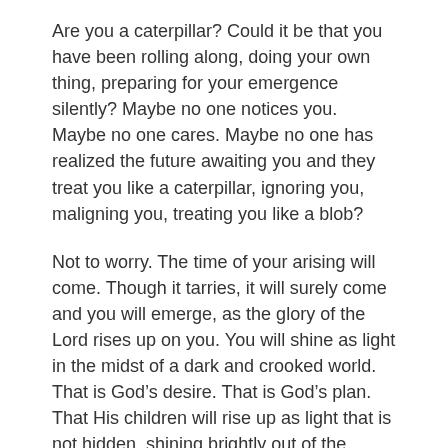Are you a caterpillar? Could it be that you have been rolling along, doing your own thing, preparing for your emergence silently? Maybe no one notices you. Maybe no one cares. Maybe no one has realized the future awaiting you and they treat you like a caterpillar, ignoring you, maligning you, treating you like a blob?
Not to worry. The time of your arising will come. Though it tarries, it will surely come and you will emerge, as the glory of the Lord rises up on you. You will shine as light in the midst of a dark and crooked world. That is God's desire. That is God's plan. That His children will rise up as light that is not hidden, shining brightly out of the darkness of this world, to draw people to His light.